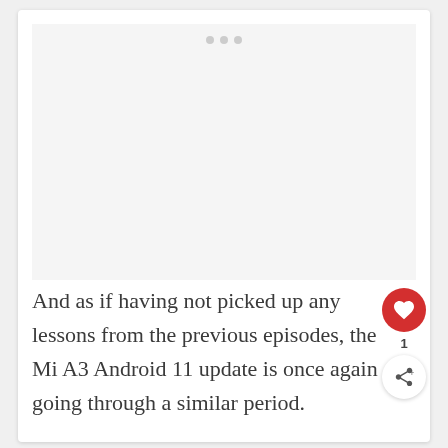[Figure (other): Advertisement placeholder area with three dots indicating ad loading]
And as if having not picked up any lessons from the previous episodes, the Mi A3 Android 11 update is once again going through a similar period.
Following the official rollout on the last